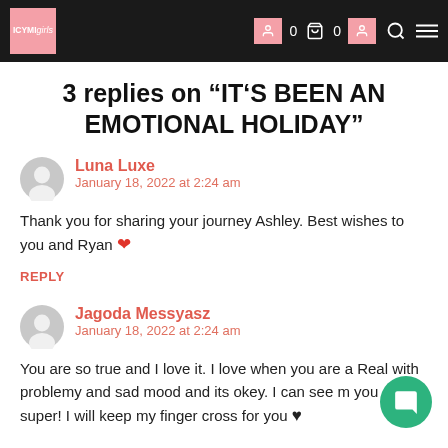ICYMI | [nav bar with logo, cart icons, search, menu]
3 replies on “IT’S BEEN AN EMOTIONAL HOLIDAY”
Luna Luxe
January 18, 2022 at 2:24 am
Thank you for sharing your journey Ashley. Best wishes to you and Ryan ❤
REPLY
Jagoda Messyasz
January 18, 2022 at 2:24 am
You are so true and I love it. I love when you are a Real with problemy and sad mood and its okey. I can see m you and is super! I will keep my finger cross for you ♥